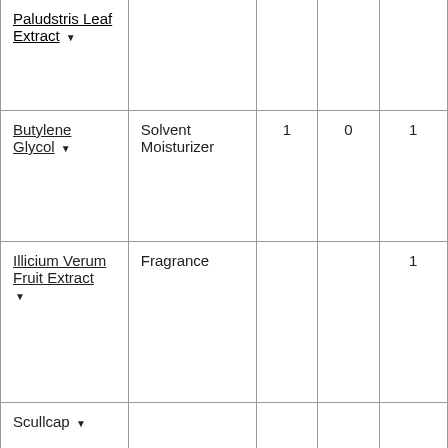| Ingredient | Function | Col3 | Col4 | Col5 |
| --- | --- | --- | --- | --- |
| Paludstris Leaf Extract ▼ |  |  |  |  |
| Butylene Glycol ▼ | Solvent Moisturizer | 1 | 0 | 1 |
| Illicium Verum Fruit Extract ▼ | Fragrance |  |  | 1 |
| Scullcap ▼ |  |  |  |  |
| 1,2-Hexanediol ▼ | Solvent |  |  |  |